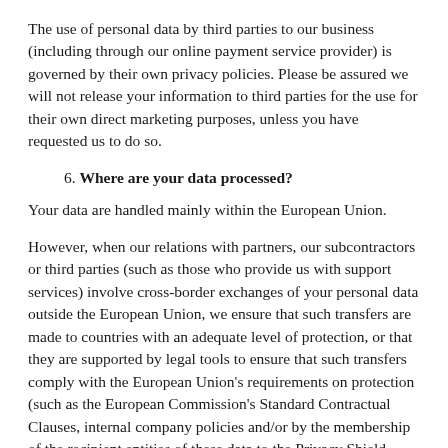The use of personal data by third parties to our business (including through our online payment service provider) is governed by their own privacy policies. Please be assured we will not release your information to third parties for the use for their own direct marketing purposes, unless you have requested us to do so.
6. Where are your data processed?
Your data are handled mainly within the European Union.
However, when our relations with partners, our subcontractors or third parties (such as those who provide us with support services) involve cross-border exchanges of your personal data outside the European Union, we ensure that such transfers are made to countries with an adequate level of protection, or that they are supported by legal tools to ensure that such transfers comply with the European Union's requirements on protection (such as the European Commission's Standard Contractual Clauses, internal company policies and/or by the membership of the recipient entities of these data to the Privacy Shield, when located in the United States).